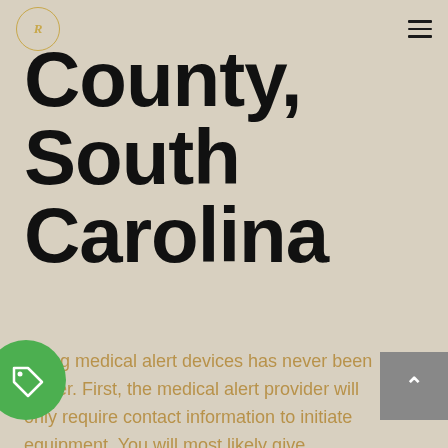Royal Daze logo and hamburger menu navigation
in Sumter County, South Carolina
Using medical alert devices has never been easier. First, the medical alert provider will only require contact information to initiate equipment. You will most likely give